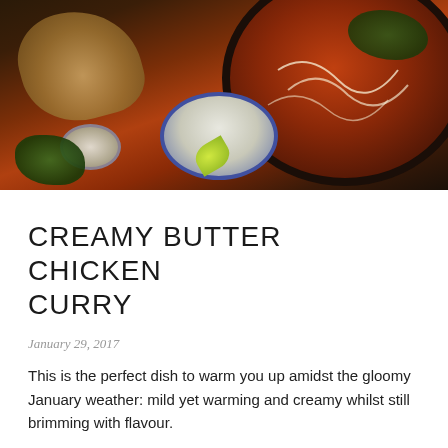[Figure (photo): Overhead shot of butter chicken curry in a dark pan with cream drizzle and cilantro garnish, alongside naan bread, rice, and a small bowl of cream on a dark surface]
CREAMY BUTTER CHICKEN CURRY
January 29, 2017
This is the perfect dish to warm you up amidst the gloomy January weather: mild yet warming and creamy whilst still brimming with flavour.
[Figure (photo): Overhead shot of ingredients on a dark surface: fresh cilantro herbs, ginger root, garlic cloves, and lime wedges]